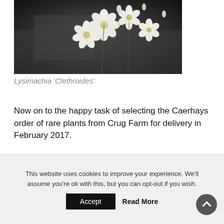[Figure (photo): Close-up photograph of white Lysimachia clethroides flowers with small round buds against a dark blurred background]
Lysimachia ‘Clethroides’
Now on to the happy task of selecting the Caerhays order of rare plants from Crug Farm for delivery in February 2017.
2015 – CHW
This website uses cookies to improve your experience. We’ll assume you’re ok with this, but you can opt-out if you wish.
Accept  Read More